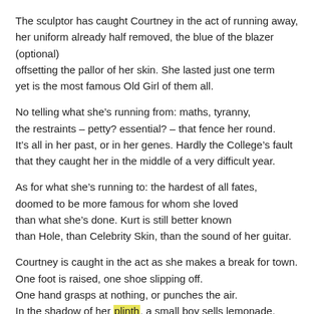The sculptor has caught Courtney in the act of running away, her uniform already half removed, the blue of the blazer (optional) offsetting the pallor of her skin. She lasted just one term yet is the most famous Old Girl of them all.
No telling what she’s running from: maths, tyranny, the restraints – petty? essential? – that fence her round. It’s all in her past, or in her genes. Hardly the College’s fault that they caught her in the middle of a very difficult year.
As for what she’s running to: the hardest of all fates, doomed to be more famous for whom she loved than what she’s done. Kurt is still better known than Hole, than Celebrity Skin, than the sound of her guitar.
Courtney is caught in the act as she makes a break for town. One foot is raised, one shoe slipping off. One hand grasps at nothing, or punches the air. In the shadow of her plinth, a small boy sells lemonade.
Credit note: This is a new, unpublished (and very possibly unfinished) poem.
Tim says: I wrote this poem in Nelson, inspired by walking past - you guessed it - the front entrance of Nelson College for Girls. Some parts of this poem are true: Courtney did attend Nelson College for Girls for one